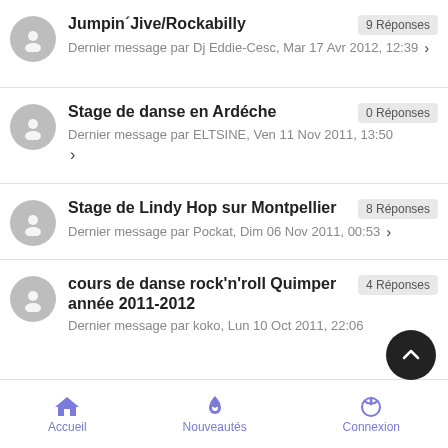Jumpin´Jive/Rockabilly — 9 Réponses
Dernier message par Dj Eddie-Cesc, Mar 17 Avr 2012, 12:39
Stage de danse en Ardéche — 0 Réponses
Dernier message par ELTSINE, Ven 11 Nov 2011, 13:50
Stage de Lindy Hop sur Montpellier — 8 Réponses
Dernier message par Pockat, Dim 06 Nov 2011, 00:53
cours de danse rock'n'roll Quimper année 2011-2012 — 4 Réponses
Dernier message par koko, Lun 10 Oct 2011, 22:06
Accueil   Nouveautés   Connexion